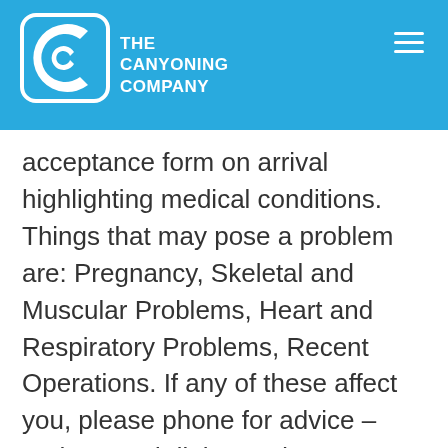[Figure (logo): The Canyoning Company logo — white circular C icon with the company name in white text on a blue background]
acceptance form on arrival highlighting medical conditions. Things that may pose a problem are: Pregnancy, Skeletal and Muscular Problems, Heart and Respiratory Problems, Recent Operations. If any of these affect you, please phone for advice – Asthma and diabetes do not normally restrict participation. Please bring all medication you require. Canyoning requires a reasonable level of fitness to take part. If we feel you are physically unfit